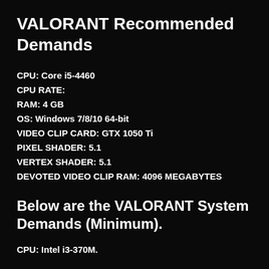VALORANT Recommended Demands
CPU: Core i5-4460
CPU RATE:
RAM: 4 GB
OS: Windows 7/8/10 64-bit
VIDEO CLIP CARD: GTX 1050 Ti
PIXEL SHADER: 5.1
VERTEX SHADER: 5.1
DEVOTED VIDEO CLIP RAM: 4096 MEGABYTES
Below are the VALORANT System Demands (Minimum).
CPU: Intel i3-370M.